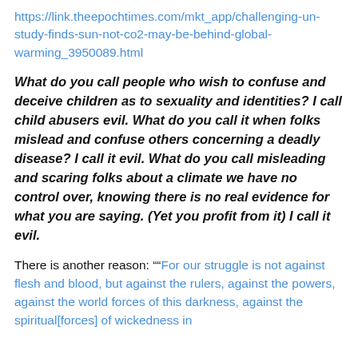https://link.theepochtimes.com/mkt_app/challenging-un-study-finds-sun-not-co2-may-be-behind-global-warming_3950089.html
What do you call people who wish to confuse and deceive children as to sexuality and identities? I call child abusers evil. What do you call it when folks mislead and confuse others concerning a deadly disease? I call it evil. What do you call misleading and scaring folks about a climate we have no control over, knowing there is no real evidence for what you are saying. (Yet you profit from it) I call it evil.
There is another reason: ""For our struggle is not against flesh and blood, but against the rulers, against the powers, against the world forces of this darkness, against the spiritual[forces] of wickedness in